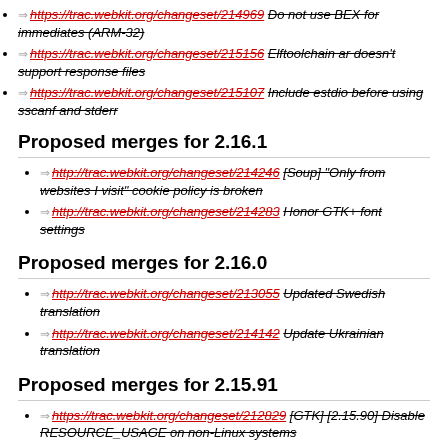https://trac.webkit.org/changeset/214969 Do not use BEX for immediates (ARM-32)
https://trac.webkit.org/changeset/215156 Elftoolchain ar doesn't support response files
https://trac.webkit.org/changeset/215107 Include estdio before using sscanf and stderr
Proposed merges for 2.16.1
http://trac.webkit.org/changeset/214246 [Soup] "Only from websites I visit" cookie policy is broken
http://trac.webkit.org/changeset/214283 Honor GTK+ font settings
Proposed merges for 2.16.0
http://trac.webkit.org/changeset/213055 Updated Swedish translation
http://trac.webkit.org/changeset/214142 Update Ukrainian translation
Proposed merges for 2.15.91
https://trac.webkit.org/changeset/212829 [GTK] [2.15.90] Disable RESOURCE_USAGE on non-Linux systems
Changes on track
Previous versions